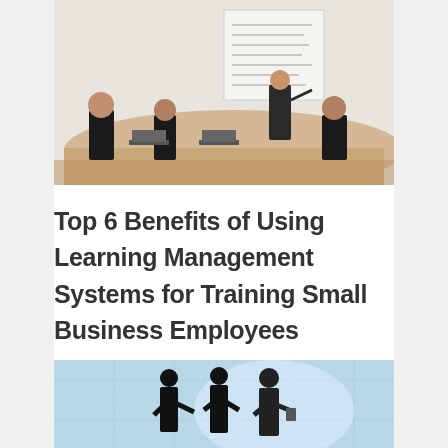[Figure (photo): Several people sitting around a conference table with laptops, one person standing pointing at a whiteboard with diagrams, in a bright meeting room.]
Top 6 Benefits of Using Learning Management Systems for Training Small Business Employees
[Figure (photo): Silhouettes of three people shaking hands in a bright, blue-tinted glass building interior.]